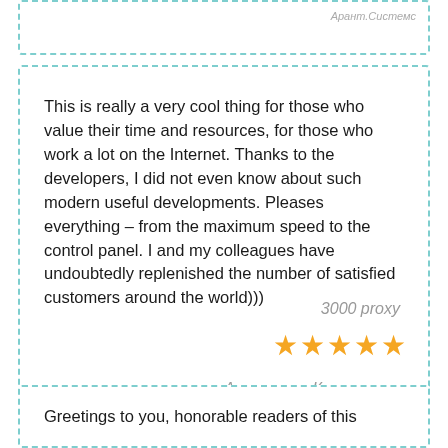Арант.Системс
This is really a very cool thing for those who value their time and resources, for those who work a lot on the Internet. Thanks to the developers, I did not even know about such modern useful developments. Pleases everything – from the maximum speed to the control panel. I and my colleagues have undoubtedly replenished the number of satisfied customers around the world)))
3000 proxy
[Figure (other): Five gold star rating]
Анастасия Коновалова
Greetings to you, honorable readers of this